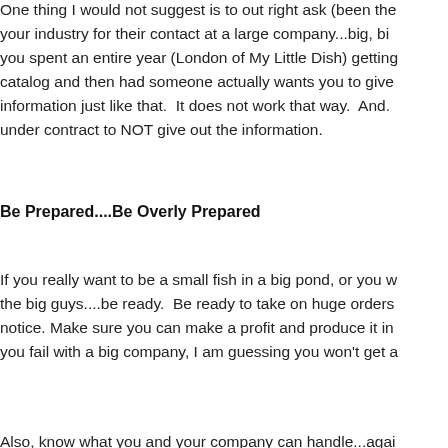One thing I would not suggest is to out right ask (been the...your industry for their contact at a large company...big, bi...you spent an entire year (London of My Little Dish) getting...catalog and then had someone actually wants you to give...information just like that. It does not work that way. And....under contract to NOT give out the information.
Be Prepared....Be Overly Prepared
If you really want to be a small fish in a big pond, or you w...the big guys....be ready. Be ready to take on huge orders...notice. Make sure you can make a profit and produce it in...you fail with a big company, I am guessing you won't get a...
Also, know what you and your company can handle...agai...homework. Even if your dream is to work with Pottery Ba...or any other super large company make sure you can do i...all good and well but if you are a one man shop doing the...probably can not handle 500 orders a month. But then ag...entrepreneur at heart I am guessing no one can tell you th...